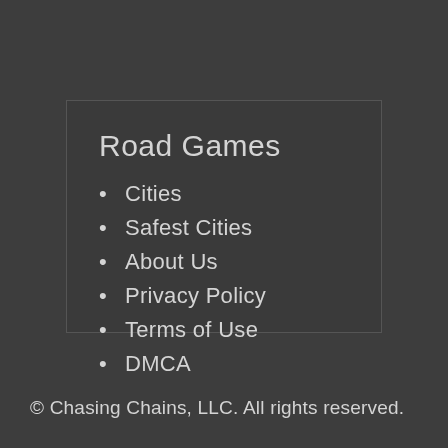Road Games
Cities
Safest Cities
About Us
Privacy Policy
Terms of Use
DMCA
© Chasing Chains, LLC. All rights reserved.